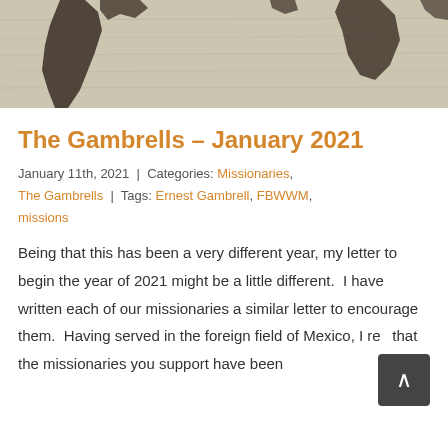[Figure (photo): World map silhouette on wood-grain background texture, partial view showing parts of the Americas and other continents in dark brown tones]
The Gambrells – January 2021
January 11th, 2021  |  Categories: Missionaries, The Gambrells  |  Tags: Ernest Gambrell, FBWWM, missions
Being that this has been a very different year, my letter to begin the year of 2021 might be a little different.  I have written each of our missionaries a similar letter to encourage them.  Having served in the foreign field of Mexico, I re... that the missionaries you support have been